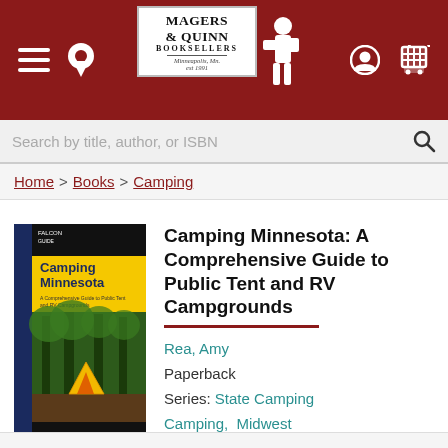[Figure (screenshot): Magers & Quinn Booksellers website header with dark red background, hamburger menu icon, location pin icon, store logo in white box with illustrated figure, user icon and cart icon]
Search by title, author, or ISBN
Home > Books > Camping
[Figure (photo): Book cover of 'Camping Minnesota' from Falcon Guide series. Yellow and dark blue cover with a yellow tent in a forest setting.]
Camping Minnesota: A Comprehensive Guide to Public Tent and RV Campgrounds
Rea, Amy
Paperback
Series: State Camping
Camping,  Midwest